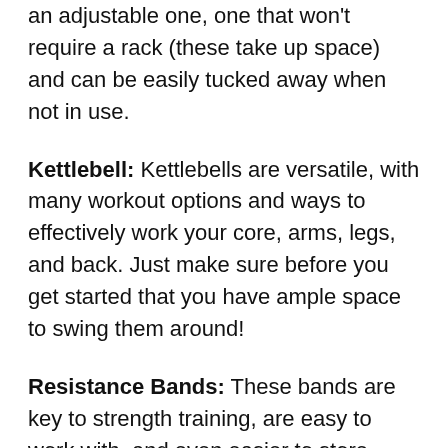an adjustable one, one that won't require a rack (these take up space) and can be easily tucked away when not in use.
Kettlebell: Kettlebells are versatile, with many workout options and ways to effectively work your core, arms, legs, and back. Just make sure before you get started that you have ample space to swing them around!
Resistance Bands: These bands are key to strength training, are easy to work with, and even easier to store.